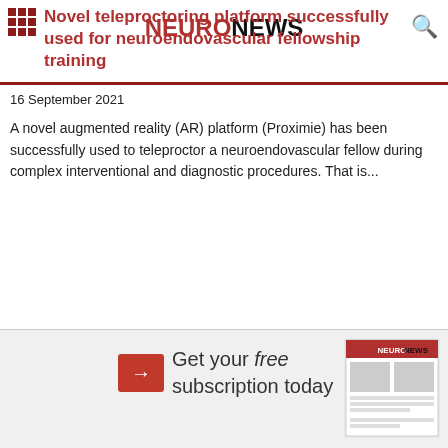NeuroNews
Novel teleproctoring platform successfully used for neuroendovascular fellowship training
16 September 2021
A novel augmented reality (AR) platform (Proximie) has been successfully used to teleproctor a neuroendovascular fellow during complex interventional and diagnostic procedures. That is...
[Figure (screenshot): Advertisement banner for NeuroNews free subscription with red arrow button and magazine thumbnail]